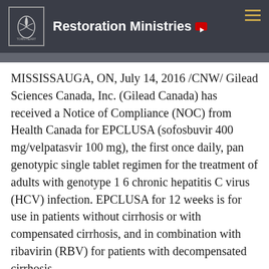Restoration Ministries
MISSISSAUGA, ON, July 14, 2016 /CNW/ Gilead Sciences Canada, Inc. (Gilead Canada) has received a Notice of Compliance (NOC) from Health Canada for EPCLUSA (sofosbuvir 400 mg/velpatasvir 100 mg), the first once daily, pan genotypic single tablet regimen for the treatment of adults with genotype 1 6 chronic hepatitis C virus (HCV) infection. EPCLUSA for 12 weeks is for use in patients without cirrhosis or with compensated cirrhosis, and in combination with ribavirin (RBV) for patients with decompensated cirrhosis.